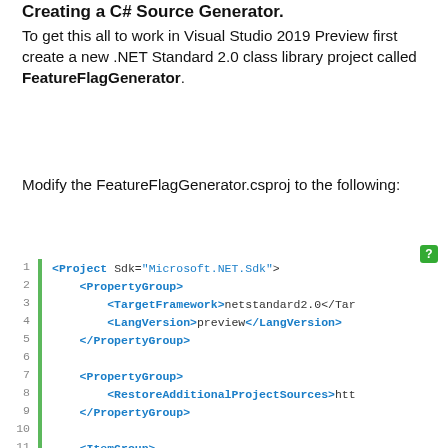Creating a C# Source Generator.
To get this all to work in Visual Studio 2019 Preview first create a new .NET Standard 2.0 class library project called FeatureFlagGenerator.
Modify the FeatureFlagGenerator.csproj to the following:
[Figure (screenshot): Code block showing XML project file content with line numbers 1-11 and a green vertical bar. Lines show: 1: <Project Sdk="Microsoft.NET.Sdk">, 2: <PropertyGroup>, 3: <TargetFramework>netstandard2.0</Tar, 4: <LangVersion>preview</LangVersion>, 5: </PropertyGroup>, 6: (empty), 7: <PropertyGroup>, 8: <RestoreAdditionalProjectSources>htt, 9: </PropertyGroup>, 10: (empty), 11: <ItemGroup>]